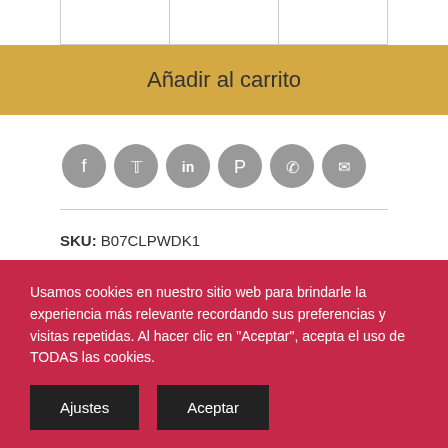Añadir al carrito
[Figure (other): Social sharing icons row: Facebook, Twitter, LinkedIn, Pinterest, WhatsApp, Email]
SKU: B07CLPWDK1
Categorías: D.O., D.O. Uclés, Packs y Lotes, Shiraz, Vino tinto
Usamos cookies en nuestro sitio web para brindarle la experiencia más relevante recordando sus preferencias y visitas repetidas. Al hacer clic en "Aceptar", acepta el uso de TODAS las cookies.
Ajustes
Aceptar